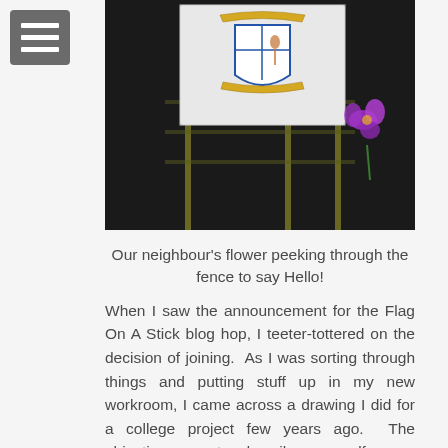[Figure (photo): A white fabric flag with a shield/coat of arms design displayed on poles against a dark background. A purple flower is visible peeking through from the right side.]
Our neighbour's flower peeking through the fence to say Hello!
When I saw the announcement for the Flag On A Stick blog hop, I teeter-tottered on the decision of joining.  As I was sorting through things and putting stuff up in my new workroom, I came across a drawing I did for a college project few years ago.  The objective was to describe yourself on a shield.  I thought that would make a perfect